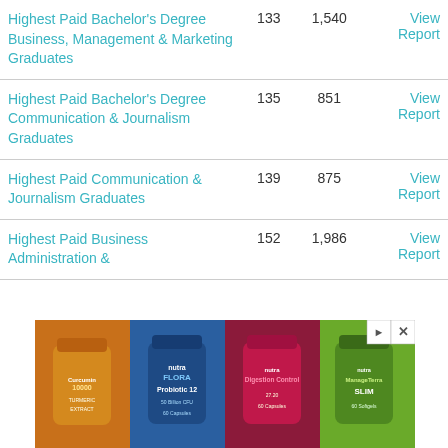| Title |  |  |  |
| --- | --- | --- | --- |
| Highest Paid Bachelor's Degree Business, Management & Marketing Graduates | 133 | 1,540 | View Report |
| Highest Paid Bachelor's Degree Communication & Journalism Graduates | 135 | 851 | View Report |
| Highest Paid Communication & Journalism Graduates | 139 | 875 | View Report |
| Highest Paid Business Administration & | 152 | 1,986 | View Report |
[Figure (photo): Advertisement banner showing four supplement/vitamin bottle products against colored backgrounds (orange, blue, dark red, green). Includes close and navigate buttons.]